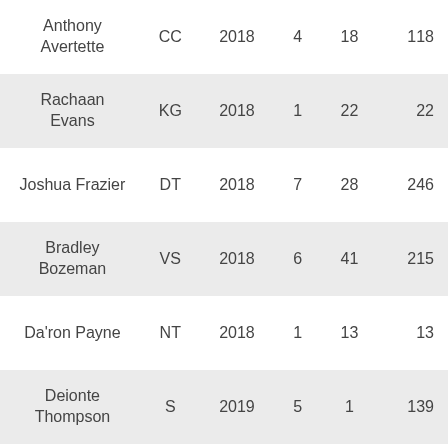| Anthony Avertette | CC | 2018 | 4 | 18 | 118 |
| Rachaan Evans | KG | 2018 | 1 | 22 | 22 |
| Joshua Frazier | DT | 2018 | 7 | 28 | 246 |
| Bradley Bozeman | VS | 2018 | 6 | 41 | 215 |
| Da'ron Payne | NT | 2018 | 1 | 13 | 13 |
| Deionte Thompson | S | 2019 | 5 | 1 | 139 |